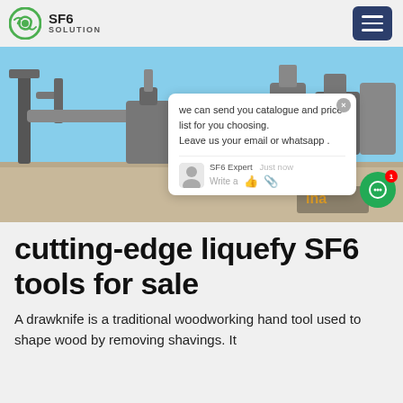SF6 SOLUTION
[Figure (photo): Technician in blue jacket crouching on industrial rooftop with SF6 gas equipment and pipes. Chat popup overlay visible saying 'we can send you catalogue and price list for you choosing. Leave us your email or whatsapp .' with SF6 Expert label and 'just now' timestamp.]
cutting-edge liquefy SF6 tools for sale
A drawknife is a traditional woodworking hand tool used to shape wood by removing shavings. It consists of a blade with handles at each end. The